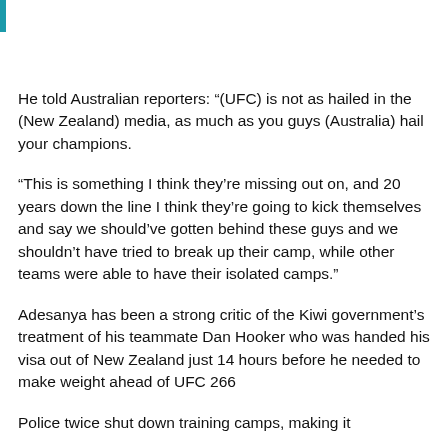He told Australian reporters: “(UFC) is not as hailed in the (New Zealand) media, as much as you guys (Australia) hail your champions.
“This is something I think they’re missing out on, and 20 years down the line I think they’re going to kick themselves and say we should’ve gotten behind these guys and we shouldn’t have tried to break up their camp, while other teams were able to have their isolated camps.”
Adesanya has been a strong critic of the Kiwi government’s treatment of his teammate Dan Hooker who was handed his visa out of New Zealand just 14 hours before he needed to make weight ahead of UFC 266
Police twice shut down training camps, making it